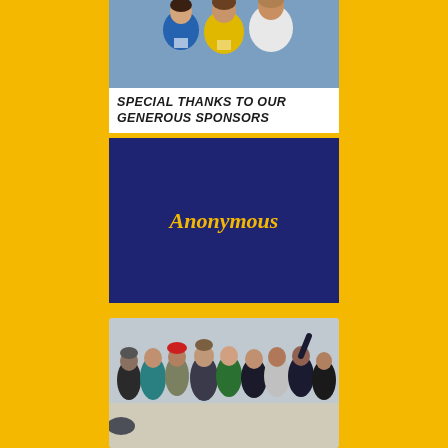[Figure (photo): Group of young people wearing blue and yellow event t-shirts, smiling at the camera, cropped at top]
SPECIAL THANKS TO OUR GENEROUS SPONSORS
Anonymous
[Figure (photo): Group of approximately 9 people standing together outdoors on a beach or open area, casually dressed, some with arms raised, overcast sky]